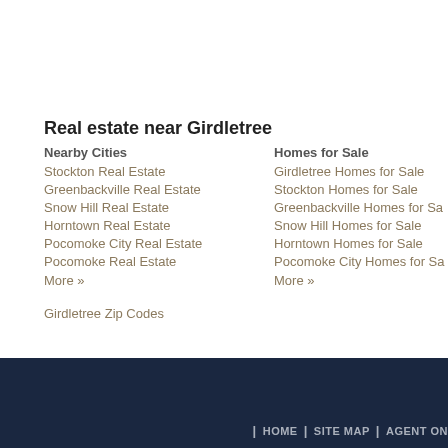Real estate near Girdletree
Nearby Cities
Stockton Real Estate
Greenbackville Real Estate
Snow Hill Real Estate
Horntown Real Estate
Pocomoke City Real Estate
Pocomoke Real Estate
More »
Homes for Sale
Girdletree Homes for Sale
Stockton Homes for Sale
Greenbackville Homes for Sa
Snow Hill Homes for Sale
Horntown Homes for Sale
Pocomoke City Homes for Sa
More »
Girdletree Zip Codes
HOME | SITE MAP | AGENT ON